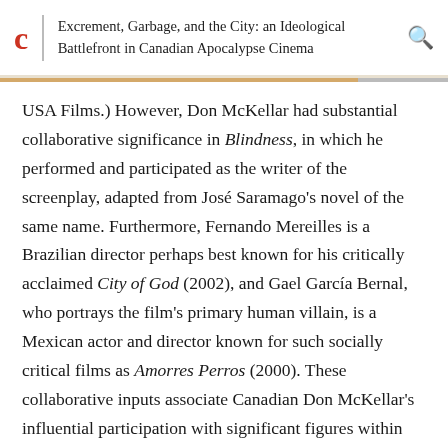Excrement, Garbage, and the City: an Ideological Battlefront in Canadian Apocalypse Cinema
USA Films.) However, Don McKellar had substantial collaborative significance in Blindness, in which he performed and participated as the writer of the screenplay, adapted from José Saramago's novel of the same name. Furthermore, Fernando Mereilles is a Brazilian director perhaps best known for his critically acclaimed City of God (2002), and Gael García Bernal, who portrays the film's primary human villain, is a Mexican actor and director known for such socially critical films as Amorres Perros (2000). These collaborative inputs associate Canadian Don McKellar's influential participation with significant figures within the socially critical Latin-American cinema movement that Solanas and Getino highlight as the historical origins of Third Cinema, and that Stam locates as the site of revolutionary impulses in the late 1980s and